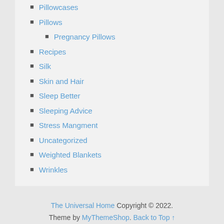Pillowcases
Pillows
Pregnancy Pillows
Recipes
Silk
Skin and Hair
Sleep Better
Sleeping Advice
Stress Mangment
Uncategorized
Weighted Blankets
Wrinkles
The Universal Home Copyright © 2022. Theme by MyThemeShop. Back to Top ↑